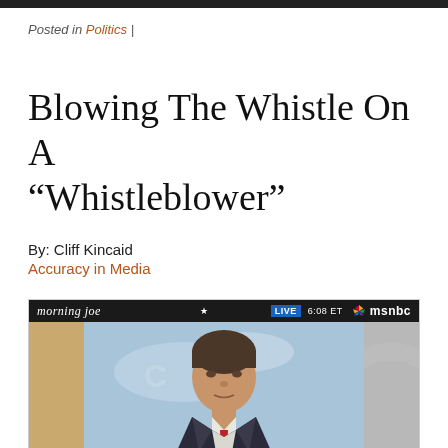Posted in Politics |
Blowing The Whistle On A “Whistleblower”
By: Cliff Kincaid
Accuracy in Media
[Figure (screenshot): Screenshot of MSNBC Morning Joe TV broadcast showing a man in a dark suit being interviewed, with the chyron bar reading 'morning joe LIVE 6:08 ET msnbc']